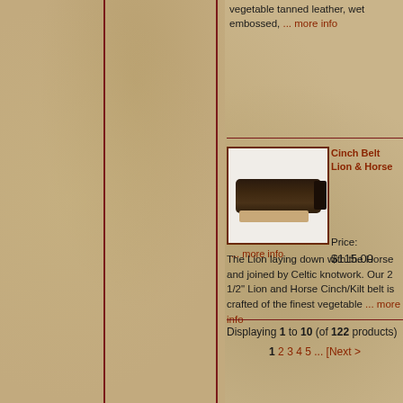vegetable tanned leather, wet embossed, ... more info
[Figure (photo): Cinch belt with lion and horse embossed leather design, dark brown color with buckle]
Cinch Belt Lion & Horse
Price: $115.00
... more info
The Lion laying down with the Horse and joined by Celtic knotwork. Our 2 1/2" Lion and Horse Cinch/Kilt belt is crafted of the finest vegetable ... more info
Displaying 1 to 10 (of 122 products)
1 2 3 4 5 ... [Next >